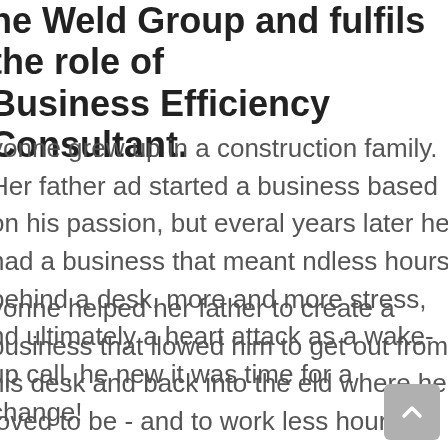he Weld Group and fulfils the role of Business Efficiency Consultant.
vonne grew up in a construction family. Her father ad started a business based on his passion, but everal years later he had a business that meant ndless hours behind a desk, more and more stress, nd ultimately a heart attack as a wake-up call, he new it was time for a change!
vonne helped her father to create a business that llowed him to get out from his desk and back into the eld where he loved to be - and to work less hours in he process so he no longer felt tied to his business! he was able to show her father how to create a usiness he began to love again and when he was eady to retire, together they had created a saleable